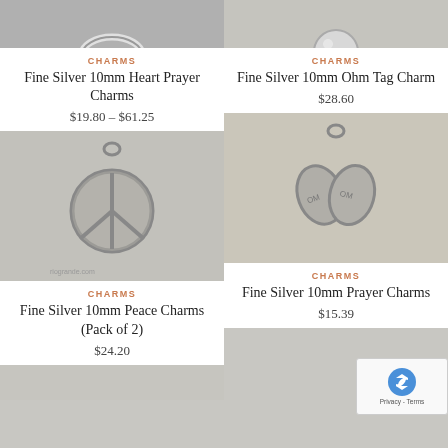[Figure (photo): Top-cropped photo of silver ring/loop charm on grey background (left)]
[Figure (photo): Top-cropped photo of silver ball/bead charm on grey background (right)]
CHARMS
Fine Silver 10mm Heart Prayer Charms
$19.80 – $61.25
CHARMS
Fine Silver 10mm Ohm Tag Charm
$28.60
[Figure (photo): Silver peace sign charm pendant on grey background]
[Figure (photo): Silver prayer/shoe charms pendant on beige background]
CHARMS
Fine Silver 10mm Peace Charms (Pack of 2)
$24.20
CHARMS
Fine Silver 10mm Prayer Charms
$15.39
[Figure (photo): Bottom-cropped silver charm photo (left)]
[Figure (photo): Bottom-cropped silver charm photo (right)]